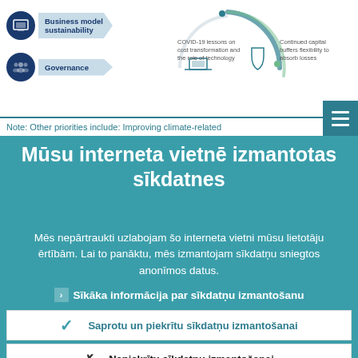[Figure (infographic): Top section showing business model sustainability and governance icons with circular diagram and COVID-19/capital buffers labels]
Note: Other priorities include: Improving climate-related
Mūsu interneta vietnē izmantotas sīkdatnes
Mēs nepārtraukti uzlabojam šo interneta vietni mūsu lietotāju ērtībām. Lai to panāktu, mēs izmantojam sīkdatņu sniegtos anonīmos datus.
Sīkāka informācija par sīkdatņu izmantošanu
Saprotu un piekrītu sīkdatņu izmantošanai
Nepiekrītu sīkdatņu izmantošanai